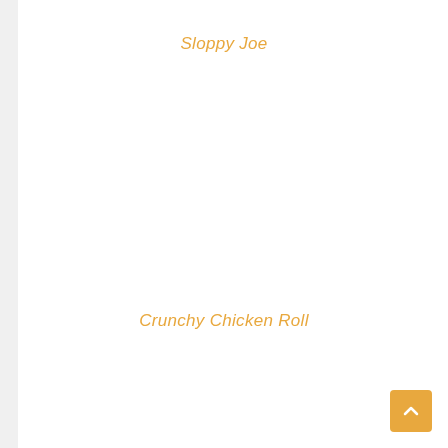Sloppy Joe
Crunchy Chicken Roll